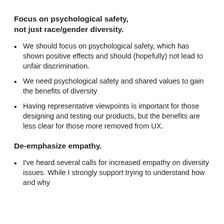Focus on psychological safety, not just race/gender diversity.
We should focus on psychological safety, which has shown positive effects and should (hopefully) not lead to unfair discrimination.
We need psychological safety and shared values to gain the benefits of diversity
Having representative viewpoints is important for those designing and testing our products, but the benefits are less clear for those more removed from UX.
De-emphasize empathy.
I've heard several calls for increased empathy on diversity issues. While I strongly support trying to understand how and why people think the way they